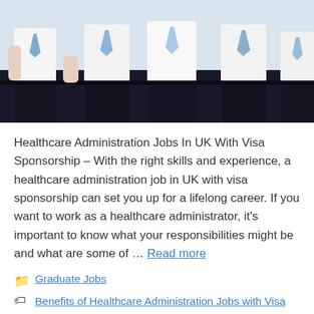[Figure (photo): Group of people in white shirts, ties, and dark trousers standing together, cropped at torso/waist level]
Healthcare Administration Jobs In UK With Visa Sponsorship – With the right skills and experience, a healthcare administration job in UK with visa sponsorship can set you up for a lifelong career. If you want to work as a healthcare administrator, it's important to know what your responsibilities might be and what are some of … Read more
Graduate Jobs
Benefits of Healthcare Administration Jobs with Visa Sponsorship, Healthcare